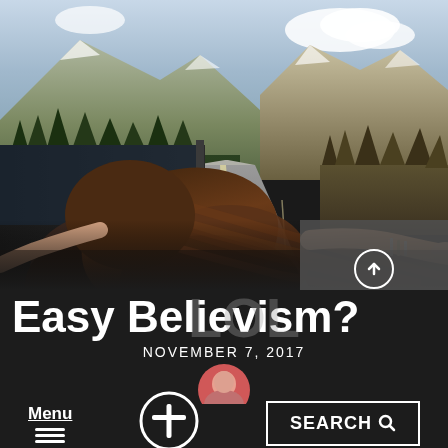[Figure (photo): Woman leaning out of car window on a mountain road, arms extended, long red-brown hair flowing, scenic road with mountains and trees in background]
Easy Believism?
NOVEMBER 7, 2017
[Figure (photo): Small circular avatar/profile photo of a person]
Menu
[Figure (illustration): Cross inside a circle, white outline on dark background]
SEARCH